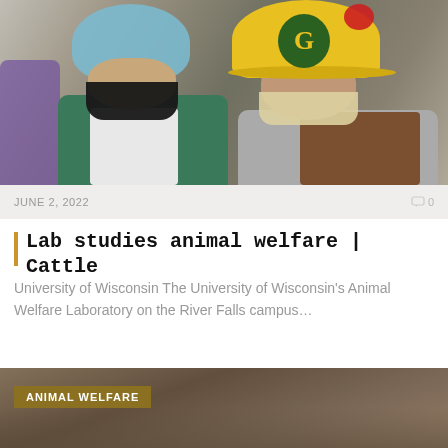[Figure (photo): Two people in a laboratory setting. Left person wears blue hair net, green scrubs, white apron, and black face mask. Right person wears a yellow Green Bay Packers hard hat, tan face mask, gray t-shirt, and brown leather apron.]
JUNE 2, 2022
0
Lab studies animal welfare | Cattle
University of Wisconsin The University of Wisconsin’s Animal Welfare Laboratory on the River Falls campus…
[Figure (photo): Blurred outdoor photo with brown and gray tones, labeled ANIMAL WELFARE in the upper left corner.]
ANIMAL WELFARE